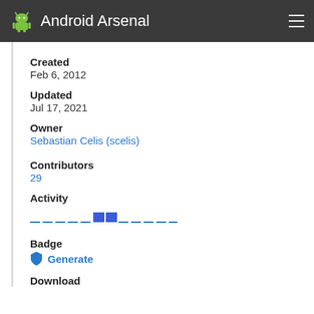Android Arsenal
Created
Feb 6, 2012
Updated
Jul 17, 2021
Owner
Sebastian Celis (scelis)
Contributors
29
Activity
[Figure (other): Activity timeline bar chart showing two blue bars among dashes on a horizontal line]
Badge
Generate
Download